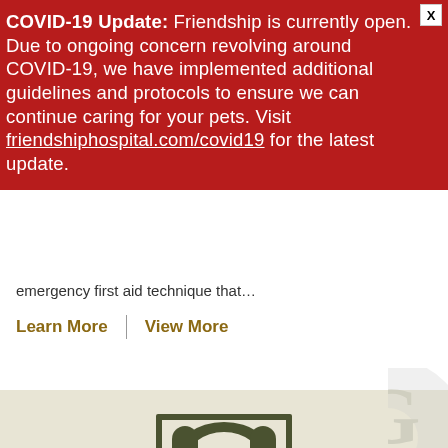COVID-19 Update: Friendship is currently open. Due to ongoing concern revolving around COVID-19, we have implemented additional guidelines and protocols to ensure we can continue caring for your pets. Visit friendshiphospital.com/covid19 for the latest update.
emergency first aid technique that...
Learn More | View More
[Figure (logo): Friendship Hospital logo: stylized dog and cat faces in olive green and cream, framed in a dark olive green rectangular border]